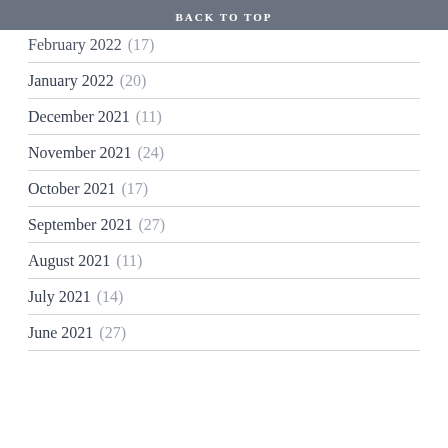BACK TO TOP
February 2022 (17)
January 2022 (20)
December 2021 (11)
November 2021 (24)
October 2021 (17)
September 2021 (27)
August 2021 (11)
July 2021 (14)
June 2021 (27)